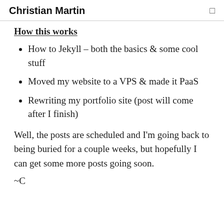Christian Martin
How this works
How to Jekyll – both the basics & some cool stuff
Moved my website to a VPS & made it PaaS
Rewriting my portfolio site (post will come after I finish)
Well, the posts are scheduled and I'm going back to being buried for a couple weeks, but hopefully I can get some more posts going soon.
~C